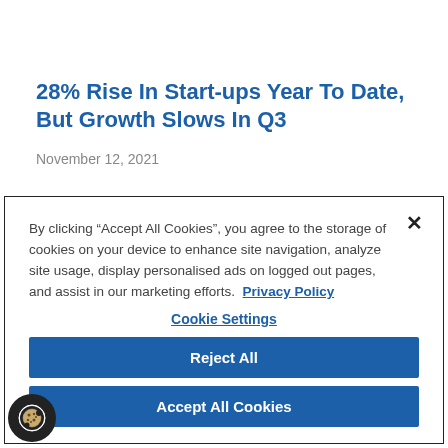[Figure (photo): Hero image of water/landscape texture at top of article page]
28% Rise In Start-ups Year To Date, But Growth Slows In Q3
November 12, 2021
By clicking “Accept All Cookies”, you agree to the storage of cookies on your device to enhance site navigation, analyze site usage, display personalised ads on logged out pages, and assist in our marketing efforts.  Privacy Policy
Cookie Settings
Reject All
Accept All Cookies